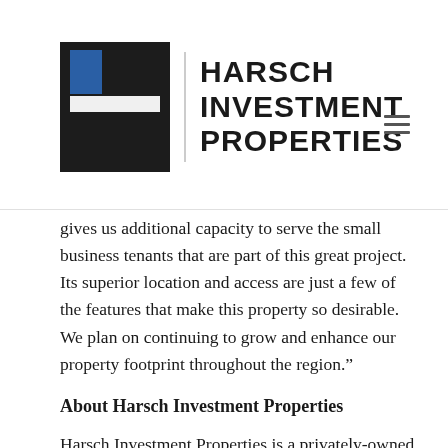HARSCH INVESTMENT PROPERTIES
gives us additional capacity to serve the small business tenants that are part of this great project. Its superior location and access are just a few of the features that make this property so desirable. We plan on continuing to grow and enhance our property footprint throughout the region.”
About Harsch Investment Properties
Harsch Investment Properties is a privately-owned real estate company that acquires, manages and develops properties for its own portfolio. The company owns and operates 27 million square feet of office, multi-tenant industrial, multi-family and retail properties in six western states. Headquartered in Portland, Oregon, Harsch has regional offices in Portland, Seattle, the San Francisco